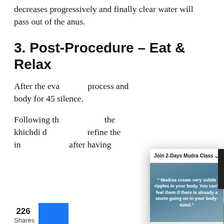decreases progressively and finally clear water will pass out of the anus.
3. Post-Procedure – Eat & Relax
After the eva... process and body for 45 silence.
Following th... the khichdi d... refine the in... after having for 2 d...
[Figure (screenshot): Popup advertisement for Join 2-Days Mudra Class with quote 'Mudras create very subtle ripples in your body. You can't feel them if there is already a storm going on in your body-mind.' and buttons 'Understand Science of Mudras.' and 'Register for Class Now!' and '* Get early Bird Discount on Registration.']
226 Shares